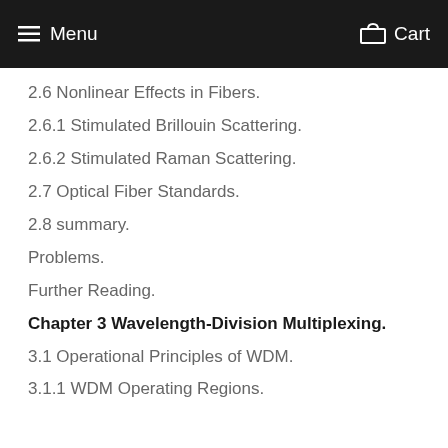Menu   Cart
2.6 Nonlinear Effects in Fibers.
2.6.1 Stimulated Brillouin Scattering.
2.6.2 Stimulated Raman Scattering.
2.7 Optical Fiber Standards.
2.8 summary.
Problems.
Further Reading.
Chapter 3 Wavelength-Division Multiplexing.
3.1 Operational Principles of WDM.
3.1.1 WDM Operating Regions.